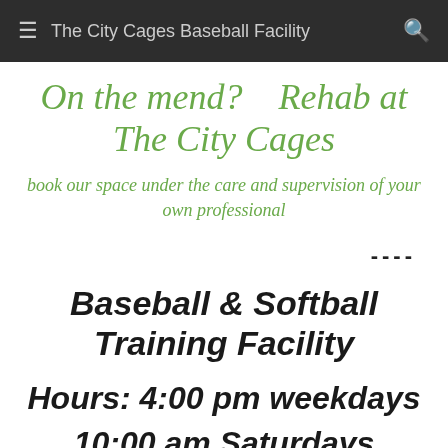The City Cages Baseball Facility
On the mend?    Rehab at The City Cages
book our space under the care and supervision of your own professional
----
Baseball & Softball Training Facility
Hours: 4:00 pm weekdays
10:00 am Saturdays